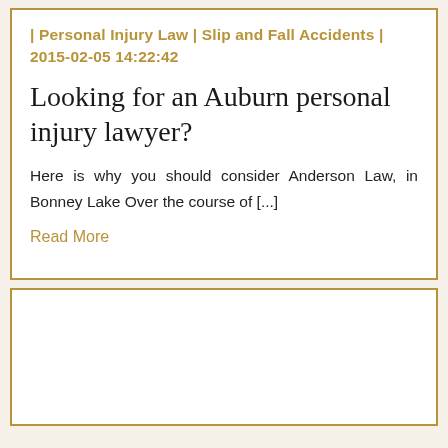| Personal Injury Law | Slip and Fall Accidents | 2015-02-05 14:22:42
Looking for an Auburn personal injury lawyer?
Here is why you should consider Anderson Law, in Bonney Lake Over the course of [...]
Read More